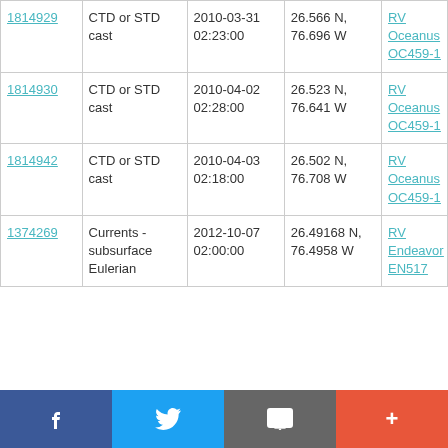| ID | Type | Date/Time | Location | Cruise |
| --- | --- | --- | --- | --- |
| 1814929 | CTD or STD cast | 2010-03-31 02:23:00 | 26.566 N, 76.696 W | RV Oceanus OC459-1 |
| 1814930 | CTD or STD cast | 2010-04-02 02:28:00 | 26.523 N, 76.641 W | RV Oceanus OC459-1 |
| 1814942 | CTD or STD cast | 2010-04-03 02:18:00 | 26.502 N, 76.708 W | RV Oceanus OC459-1 |
| 1374269 | Currents - subsurface Eulerian | 2012-10-07 02:00:00 | 26.49168 N, 76.4958 W | RV Endeavor EN517 |
Facebook | Twitter | Email | Add